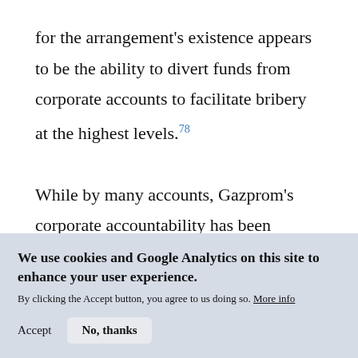for the arrangement's existence appears to be the ability to divert funds from corporate accounts to facilitate bribery at the highest levels.78
While by many accounts, Gazprom's corporate accountability has been improving under Putin's administration, there are still many gray areas that indicate that corruption is
We use cookies and Google Analytics on this site to enhance your user experience. By clicking the Accept button, you agree to us doing so. More info
Accept | No, thanks